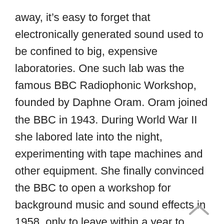away, it's easy to forget that electronically generated sound used to be confined to big, expensive laboratories. One such lab was the famous BBC Radiophonic Workshop, founded by Daphne Oram. Oram joined the BBC in 1943. During World War II she labored late into the night, experimenting with tape machines and other equipment. She finally convinced the BBC to open a workshop for background music and sound effects in 1958, only to leave within a year to create her own studio for pursuing a wider range of work.
In the 1960s, Oram invented the Oramics machine, a device which converts drawings on film into sound. Despite her pioneering work, she was relatively unknown when she passed away